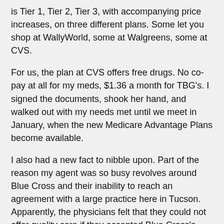is Tier 1, Tier 2, Tier 3, with accompanying price increases, on three different plans.  Some let you shop at WallyWorld, some at Walgreens, some at CVS.
For us, the plan at CVS offers free drugs.  No co-pay at all for my meds, $1.36 a month for TBG's.  I signed the documents, shook her hand, and walked out with my needs met until we meet in January, when the new Medicare Advantage Plans become available.
I also had a new fact to nibble upon.  Part of the reason my agent was so busy revolves around Blue Cross and their inability to reach an agreement with a large practice here in Tucson.  Apparently, the physicians felt that they could not offer quality care if they accepted Blue Cross's offer - a fraction of what their time is worth.  Instead of accepting the deal and complaining about it afterwards, the practice walked away from the insurer.
6,200 of their patients walked away, too.
Really, the agent mused, what was Blue Cross thinking?  Would you walk away from your doctor to stay with your